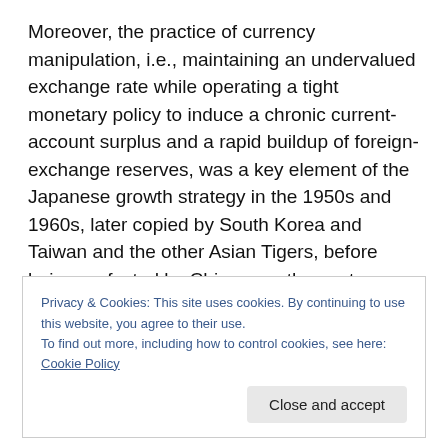Moreover, the practice of currency manipulation, i.e., maintaining an undervalued exchange rate while operating a tight monetary policy to induce a chronic current-account surplus and a rapid buildup of foreign-exchange reserves, was a key element of the Japanese growth strategy in the 1950s and 1960s, later copied by South Korea and Taiwan and the other Asian Tigers, before being perfected by China over the past decade. So despite wanting to defend the new Japanese monetary policy as a model for the rest of the world, I couldn't conclude, admittedly based on
Privacy & Cookies: This site uses cookies. By continuing to use this website, you agree to their use.
To find out more, including how to control cookies, see here: Cookie Policy